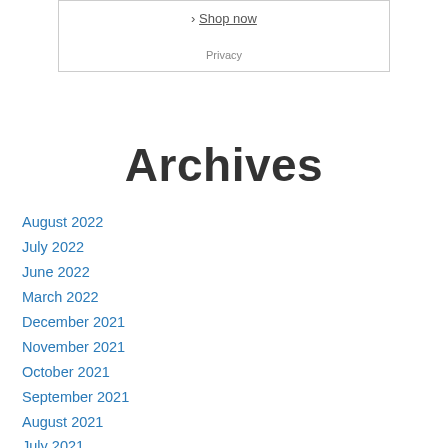[Figure (other): Shop now advertisement box with a link and Privacy text]
Archives
August 2022
July 2022
June 2022
March 2022
December 2021
November 2021
October 2021
September 2021
August 2021
July 2021
June 2021
May 2021
April 2021